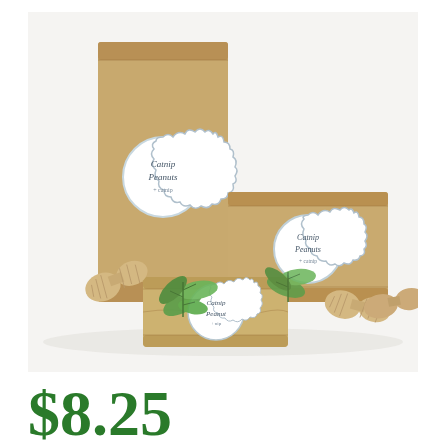[Figure (photo): Three kraft paper bags/packages of different sizes, each sealed with a round scalloped white sticker label reading 'Catnip Peanuts'. Fresh green mint leaves and crocheted/knit peanut-shaped cat toys are arranged around the packages on a white background.]
$8.25